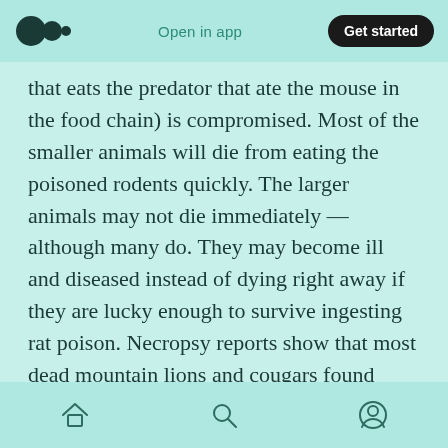Open in app | Get started
that eats the predator that ate the mouse in the food chain) is compromised. Most of the smaller animals will die from eating the poisoned rodents quickly. The larger animals may not die immediately — although many do. They may become ill and diseased instead of dying right away if they are lucky enough to survive ingesting rat poison. Necropsy reports show that most dead mountain lions and cougars found (that have not been killed by automobiles) have rat poison present in their system.
Home | Search | Profile